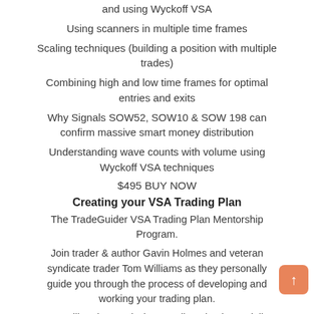and using Wyckoff VSA
Using scanners in multiple time frames
Scaling techniques (building a position with multiple trades)
Combining high and low time frames for optimal entries and exits
Why Signals SOW52, SOW10 & SOW 198 can confirm massive smart money distribution
Understanding wave counts with volume using Wyckoff VSA techniques
$495 BUY NOW
Creating your VSA Trading Plan
The TradeGuider VSA Trading Plan Mentorship Program.
Join trader & author Gavin Holmes and veteran syndicate trader Tom Williams as they personally guide you through the process of developing and working your trading plan.
You will understand why a trading plan is crucially important, what a plan needs to encompass, and the